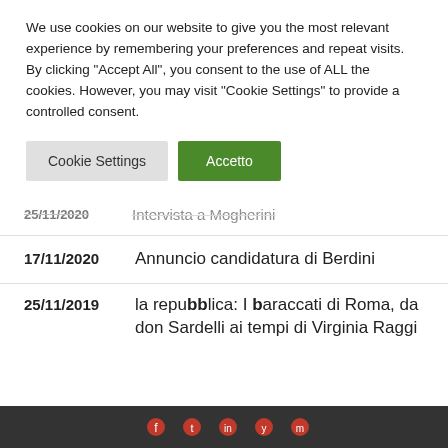We use cookies on our website to give you the most relevant experience by remembering your preferences and repeat visits. By clicking "Accept All", you consent to the use of ALL the cookies. However, you may visit "Cookie Settings" to provide a controlled consent.
Cookie Settings
Accetto
25/11/2020   Intervista a Mogherini
17/11/2020   Annuncio candidatura di Berdini
25/11/2019   la repubblica: I baraccati di Roma, da don Sardelli ai tempi di Virginia Raggi